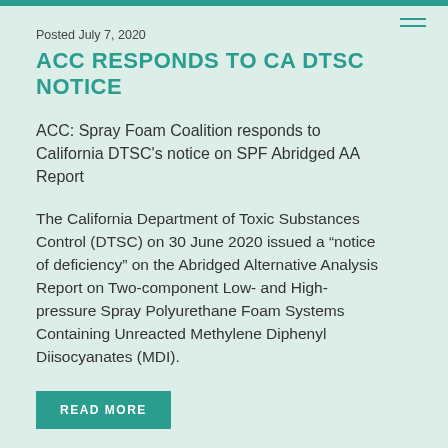Posted July 7, 2020
ACC RESPONDS TO CA DTSC NOTICE
ACC: Spray Foam Coalition responds to California DTSC’s notice on SPF Abridged AA Report
The California Department of Toxic Substances Control (DTSC) on 30 June 2020 issued a “notice of deficiency” on the Abridged Alternative Analysis Report on Two-component Low- and High-pressure Spray Polyurethane Foam Systems Containing Unreacted Methylene Diphenyl Diisocyanates (MDI).
READ MORE